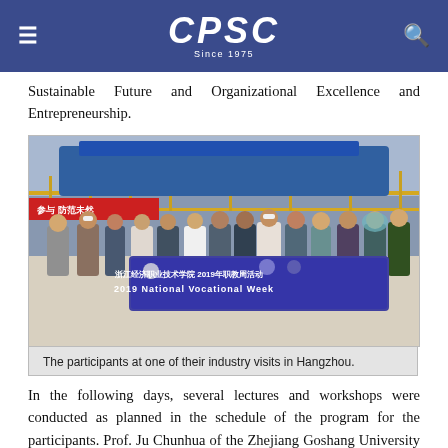CPSC Since 1975
Sustainable Future and Organizational Excellence and Entrepreneurship.
[Figure (photo): Group photo of participants holding a banner reading '浙江经济职业技术学院 2019年职教周活动 / 2019 National Vocational Week' at an industrial facility in Hangzhou.]
The participants at one of their industry visits in Hangzhou.
In the following days, several lectures and workshops were conducted as planned in the schedule of the program for the participants. Prof. Ju Chunhua of the Zhejiang Goshang University discussed the development of e-commerce and